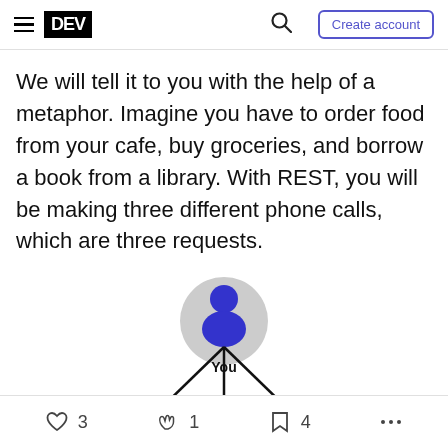DEV | Create account
We will tell it to you with the help of a metaphor. Imagine you have to order food from your cafe, buy groceries, and borrow a book from a library. With REST, you will be making three different phone calls, which are three requests.
[Figure (illustration): A diagram showing a person icon labeled 'You' at the top with three lines radiating downward, representing three different requests (to cafe, grocery, library).]
3 | 1 | 4 | ...